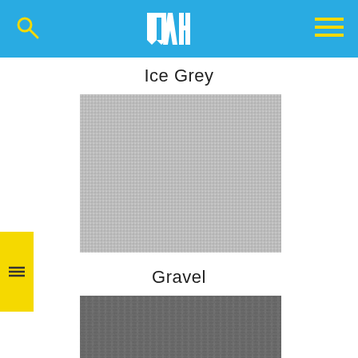UAH logo navigation bar with search and menu icons
Ice Grey
[Figure (photo): Close-up photograph of an Ice Grey fabric swatch showing a finely woven light grey textile texture]
Gravel
[Figure (photo): Close-up photograph of a Gravel fabric swatch showing a darker grey knitted/woven textile texture]